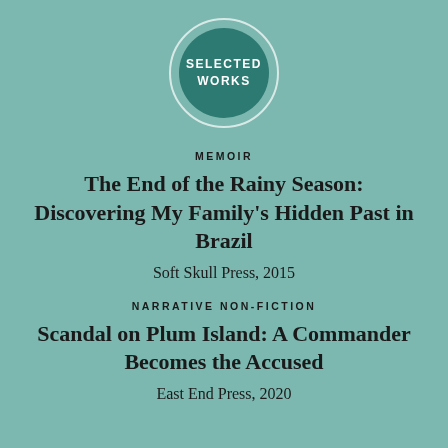[Figure (illustration): Dark teal circular badge with white ring border containing the text SELECTED WORKS in white bold uppercase letters]
MEMOIR
The End of the Rainy Season: Discovering My Family's Hidden Past in Brazil
Soft Skull Press, 2015
NARRATIVE NON-FICTION
Scandal on Plum Island: A Commander Becomes the Accused
East End Press, 2020